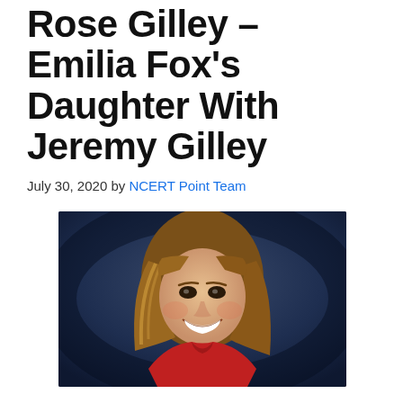Rose Gilley – Emilia Fox's Daughter With Jeremy Gilley
July 30, 2020 by NCERT Point Team
[Figure (photo): Portrait photograph of a smiling woman with shoulder-length blonde hair, wearing a red top, against a dark blue-grey background]